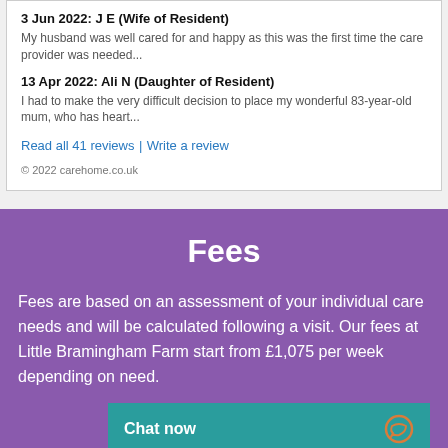3 Jun 2022: J E (Wife of Resident)
My husband was well cared for and happy as this was the first time the care provider was needed...
13 Apr 2022: Ali N (Daughter of Resident)
I had to make the very difficult decision to place my wonderful 83-year-old mum, who has heart...
Read all 41 reviews | Write a review
© 2022 carehome.co.uk
Fees
Fees are based on an assessment of your individual care needs and will be calculated following a visit. Our fees at Little Bramingham Farm start from £1,075 per week depending on need.
Chat now
For more informatio...